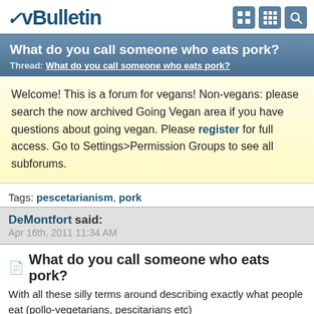vBulletin
What do you call someone who eats pork?
Thread: What do you call someone who eats pork?
Welcome! This is a forum for vegans! Non-vegans: please search the now archived Going Vegan area if you have questions about going vegan. Please register for full access. Go to Settings>Permission Groups to see all subforums.
Tags: pescetarianism, pork
DeMontfort said:
Apr 16th, 2011 11:34 AM
What do you call someone who eats pork?
With all these silly terms around describing exactly what people eat (pollo-vegetarians, pescitarians etc)
I think my fiancé is starting to feel a little bit left out so what would you call a vegetarian who eats pork? Apart from the